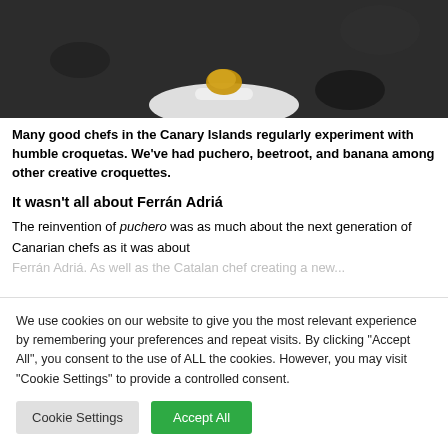[Figure (photo): Close-up photograph of food item (croqueta) on a white plate/spoon against a dark slate background]
Many good chefs in the Canary Islands regularly experiment with humble croquetas. We've had puchero, beetroot, and banana among other creative croquettes.
It wasn't all about Ferrán Adriá
The reinvention of puchero was as much about the next generation of Canarian chefs as it was about Ferrán Adriá. As well as the Catalan chef creating a new...
We use cookies on our website to give you the most relevant experience by remembering your preferences and repeat visits. By clicking "Accept All", you consent to the use of ALL the cookies. However, you may visit "Cookie Settings" to provide a controlled consent.